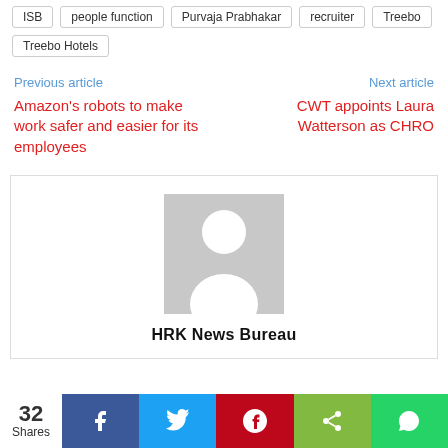ISB | people function | Purvaja Prabhakar | recruiter | Treebo | Treebo Hotels
Previous article
Next article
Amazon's robots to make work safer and easier for its employees
CWT appoints Laura Watterson as CHRO
[Figure (photo): Default avatar placeholder image — grey background with white silhouette of a person]
HRK News Bureau
32 Shares